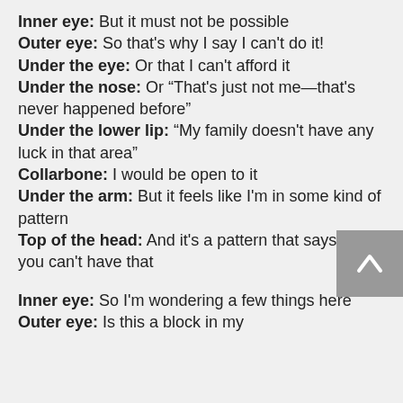Inner eye: But it must not be possible
Outer eye: So that's why I say I can't do it!
Under the eye: Or that I can't afford it
Under the nose: Or “That's just not me—that's never happened before”
Under the lower lip: “My family doesn't have any luck in that area”
Collarbone: I would be open to it
Under the arm: But it feels like I'm in some kind of pattern
Top of the head: And it's a pattern that says No, you can't have that
Inner eye: So I'm wondering a few things here
Outer eye: Is this a block in my